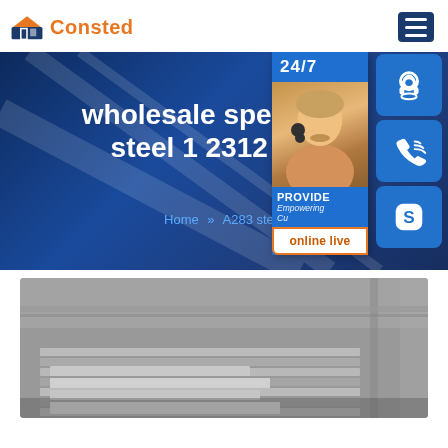Consted
[Figure (screenshot): Website hero banner with dark blue gradient background showing text 'wholesale special flat steel 1 2312 steel' with a customer service representative image and contact widgets on the right side including 24/7 chat, phone, and Skype icons, plus an 'online live' button]
Home » A283 steel
[Figure (photo): Industrial warehouse interior showing stacked flat steel plates/sheets in grey tones]